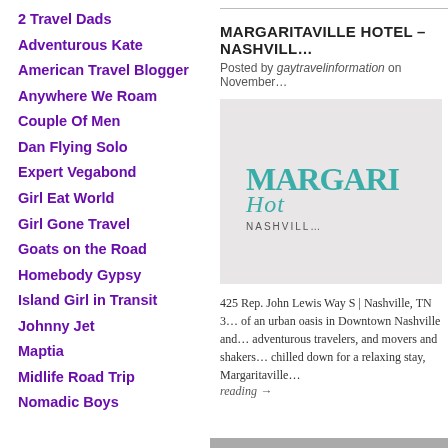2 Travel Dads
Adventurous Kate
American Travel Blogger
Anywhere We Roam
Couple Of Men
Dan Flying Solo
Expert Vegabond
Girl Eat World
Girl Gone Travel
Goats on the Road
Homebody Gypsy
Island Girl in Transit
Johnny Jet
Maptia
Midlife Road Trip
Nomadic Boys
MARGARITAVILLE HOTEL – NASHVILL…
Posted by gaytravelinformation on November…
[Figure (logo): Margaritaville Hotel Nashville logo on light grey background]
425 Rep. John Lewis Way S | Nashville, TN 3… of an urban oasis in Downtown Nashville and… adventurous travelers, and movers and shakers… chilled down for a relaxing stay, Margaritaville…
reading →